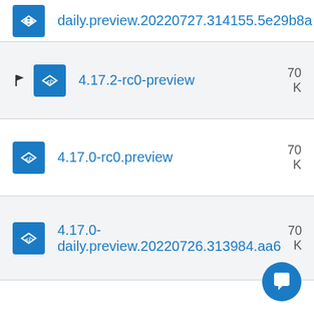daily.preview.20220727.314155.5e29b8a
4.17.2-rc0-preview
4.17.0-rc0.preview
4.17.0-daily.preview.20220726.313984.aa6